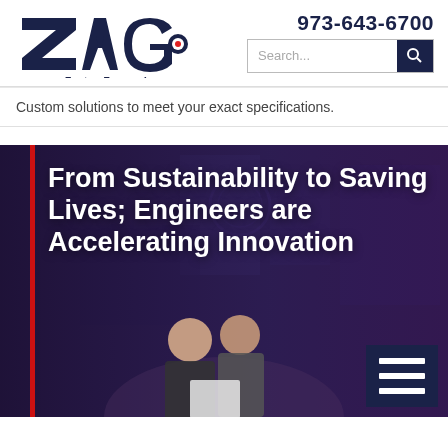[Figure (logo): ZAGO logo with stylized text and target/scope icon, tagline 'Fasten Forward' in italic below]
973-643-6700
[Figure (screenshot): Search bar with placeholder text 'Search...' and dark navy search button with magnifying glass icon]
Custom solutions to meet your exact specifications.
[Figure (photo): Hero banner with dark purple/navy overlay on industrial background, red vertical bar on left, two engineers (a blonde woman and a man) looking at a document, hamburger menu icon bottom right]
From Sustainability to Saving Lives; Engineers are Accelerating Innovation